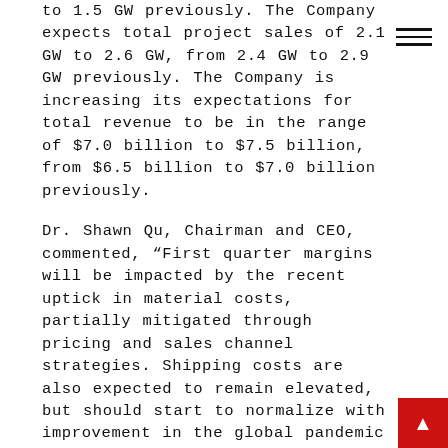to 1.5 GW previously. The Company expects total project sales of 2.1 GW to 2.6 GW, from 2.4 GW to 2.9 GW previously. The Company is increasing its expectations for total revenue to be in the range of $7.0 billion to $7.5 billion, from $6.5 billion to $7.0 billion previously.
Dr. Shawn Qu, Chairman and CEO, commented, “First quarter margins will be impacted by the recent uptick in material costs, partially mitigated through pricing and sales channel strategies. Shipping costs are also expected to remain elevated, but should start to normalize with improvement in the global pandemic situation later in the year. Longer term, our focus remains on profitable revenue growth and building shareholder value as we continue to leverage our advantaged market position and competitiveness. We will continue to invest in technology and upstream capacity and expect to continue growing our solar module market share.